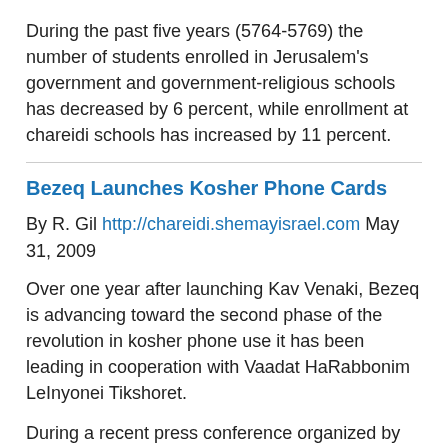During the past five years (5764-5769) the number of students enrolled in Jerusalem's government and government-religious schools has decreased by 6 percent, while enrollment at chareidi schools has increased by 11 percent.
Bezeq Launches Kosher Phone Cards
By R. Gil http://chareidi.shemayisrael.com May 31, 2009
Over one year after launching Kav Venaki, Bezeq is advancing toward the second phase of the revolution in kosher phone use it has been leading in cooperation with Vaadat HaRabbonim LeInyonei Tikshoret.
During a recent press conference organized by advertising company Afikim, Bezeq unveiled its latest innovation in kosher communications: BezeqCards and other phone cards that cannot be used to access undesirable phone content,